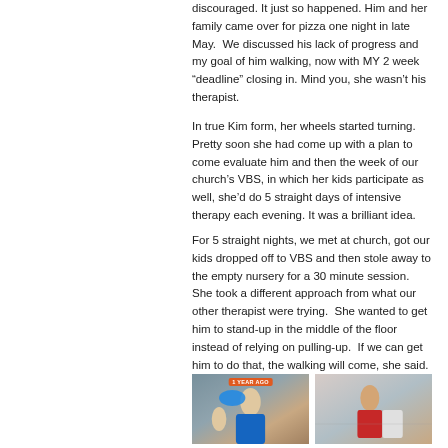discouraged. It just so happened. Him and her family came over for pizza one night in late May. We discussed his lack of progress and my goal of him walking, now with MY 2 week “deadline” closing in. Mind you, she wasn’t his therapist.
In true Kim form, her wheels started turning. Pretty soon she had come up with a plan to come evaluate him and then the week of our church’s VBS, in which her kids participate as well, she’d do 5 straight days of intensive therapy each evening. It was a brilliant idea.
For 5 straight nights, we met at church, got our kids dropped off to VBS and then stole away to the empty nursery for a 30 minute session. She took a different approach from what our other therapist were trying. She wanted to get him to stand-up in the middle of the floor instead of relying on pulling-up. If we can get him to do that, the walking will come, she said.
[Figure (photo): Two side-by-side photos. Left photo shows a woman wearing a blue cap holding a baby, with a '1 YEAR AGO' badge overlay. Right photo shows a child leaning forward, viewed from behind/side.]